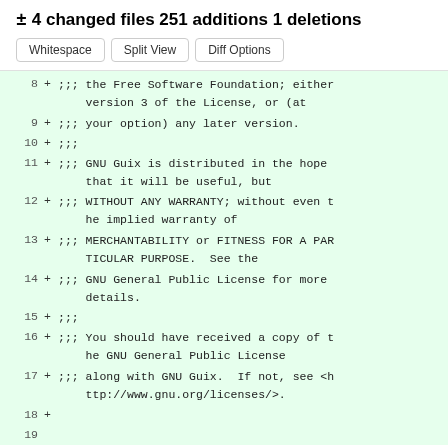± 4 changed files 251 additions 1 deletions
Whitespace | Split View | Diff Options
8 + ;;; the Free Software Foundation; either version 3 of the License, or (at
9 + ;;; your option) any later version.
10 + ;;;
11 + ;;; GNU Guix is distributed in the hope that it will be useful, but
12 + ;;; WITHOUT ANY WARRANTY; without even the implied warranty of
13 + ;;; MERCHANTABILITY or FITNESS FOR A PARTICULAR PURPOSE.  See the
14 + ;;; GNU General Public License for more details.
15 + ;;;
16 + ;;; You should have received a copy of the GNU General Public License
17 + ;;; along with GNU Guix.  If not, see <http://www.gnu.org/licenses/>.
18 +
19 ...